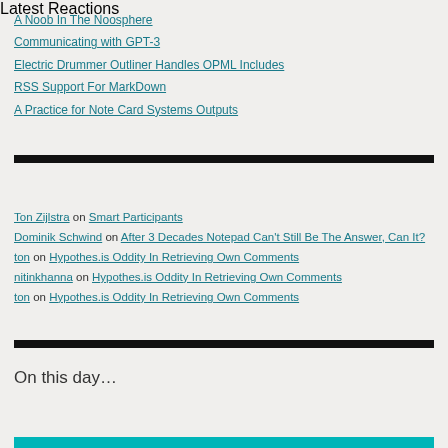A Noob In The Noosphere
Communicating with GPT-3
Electric Drummer Outliner Handles OPML Includes
RSS Support For MarkDown
A Practice for Note Card Systems Outputs
Latest Reactions
Ton Zijlstra on Smart Participants
Dominik Schwind on After 3 Decades Notepad Can't Still Be The Answer, Can It?
ton on Hypothes.is Oddity In Retrieving Own Comments
nitinkhanna on Hypothes.is Oddity In Retrieving Own Comments
ton on Hypothes.is Oddity In Retrieving Own Comments
On this day…